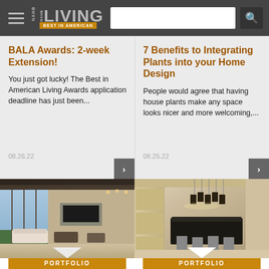NAHB LIVING — BEST IN AMERICAN
BALA Awards: 2-week Extension!
You just got lucky! The Best in American Living Awards application deadline has just been...
08.26.22
7 Benefits to Integrating Plants into your Home Design
People would agree that having house plants make any space looks nicer and more welcoming,...
08.25.22
[Figure (photo): Modern luxury living room interior with large glass doors, fireplace, and contemporary furniture]
[Figure (photo): Modern kitchen and dining area with dark island, pendant lights, and wood cabinets]
PORTFOLIO
PORTFOLIO